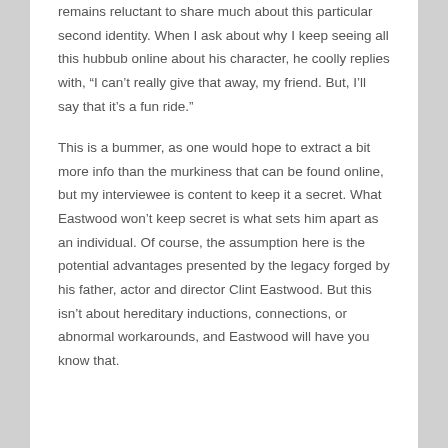remains reluctant to share much about this particular second identity. When I ask about why I keep seeing all this hubbub online about his character, he coolly replies with, “I can’t really give that away, my friend. But, I’ll say that it’s a fun ride.”
This is a bummer, as one would hope to extract a bit more info than the murkiness that can be found online, but my interviewee is content to keep it a secret. What Eastwood won’t keep secret is what sets him apart as an individual. Of course, the assumption here is the potential advantages presented by the legacy forged by his father, actor and director Clint Eastwood. But this isn’t about hereditary inductions, connections, or abnormal workarounds, and Eastwood will have you know that.